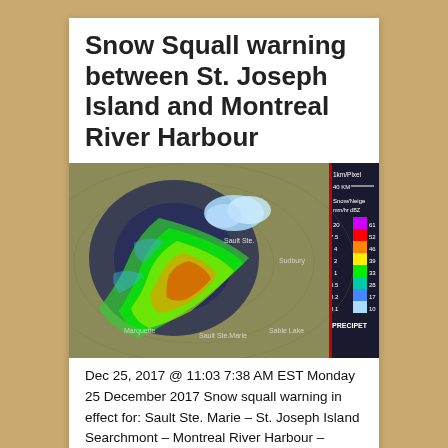Snow Squall warning between St. Joseph Island and Montreal River Harbour
[Figure (photo): Weather radar image showing snow squall precipitation pattern over Lake Superior region near Sault Ste. Marie, with a color-coded precipitation legend on the right side showing Snow/Neige intensity scale from 0.1 to 20 mm/hr.]
Dec 25, 2017 @ 11:03 7:38 AM EST Monday 25 December 2017 Snow squall warning in effect for: Sault Ste. Marie – St. Joseph Island Searchmont – Montreal River Harbour – Batchawana Bay Developing snow squalls are about to move into the Sault Ste. Marie and Batchawana Bay area. They